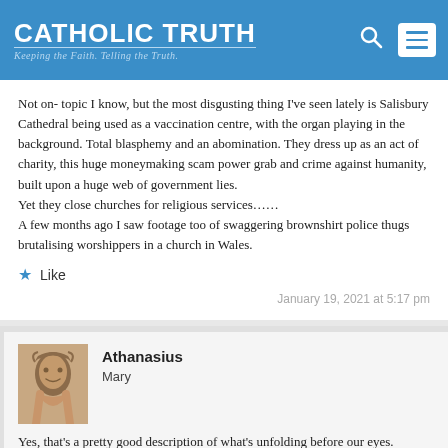Catholic Truth — Keeping the Faith. Telling the Truth.
Not on- topic I know, but the most disgusting thing I've seen lately is Salisbury Cathedral being used as a vaccination centre, with the organ playing in the background. Total blasphemy and an abomination. They dress up as an act of charity, this huge moneymaking scam power grab and crime against humanity, built upon a huge web of government lies.
Yet they close churches for religious services……
A few months ago I saw footage too of swaggering brownshirt police thugs brutalising worshippers in a church in Wales.
Like
January 19, 2021 at 5:17 pm
Athanasius
Mary
Yes, that's a pretty good description of what's unfolding before our eyes.